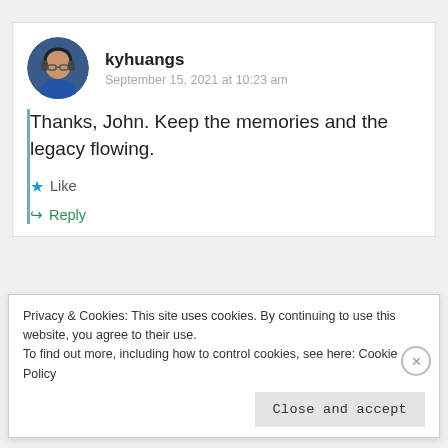kyhuangs
September 15, 2021 at 10:23 am
Thanks, John. Keep the memories and the legacy flowing.
★ Like
↪ Reply
Martha Cassity
Privacy & Cookies: This site uses cookies. By continuing to use this website, you agree to their use.
To find out more, including how to control cookies, see here: Cookie Policy
Close and accept